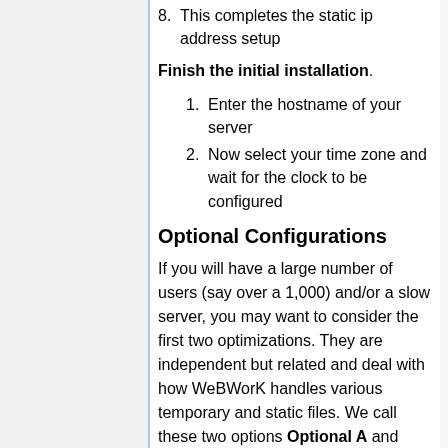8. This completes the static ip address setup
Finish the initial installation.
1. Enter the hostname of your server
2. Now select your time zone and wait for the clock to be configured
Optional Configurations
If you will have a large number of users (say over a 1,000) and/or a slow server, you may want to consider the first two optimizations. They are independent but related and deal with how WeBWorK handles various temporary and static files. We call these two options Optional A and Optional B. The third option, Optional C, gives greater security.